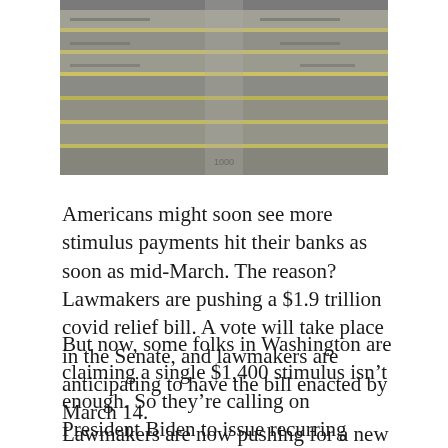[Figure (photo): Close-up photograph of stacked paper currency bills, showing edges of banknotes in muted gray and yellow tones.]
Americans might soon see more stimulus payments hit their banks as soon as mid-March. The reason? Lawmakers are pushing a $1.9 trillion covid relief bill. A vote will take place in the Senate, and lawmakers are anticipating to have the bill enacted by March 14.
But now, some folks in Washington are claiming a single $1,400 stimulus isn’t enough. So they’re calling on President Biden to issue recurring stimulus checks until covid is completely over.
Lawmakers are now pushing for a new system